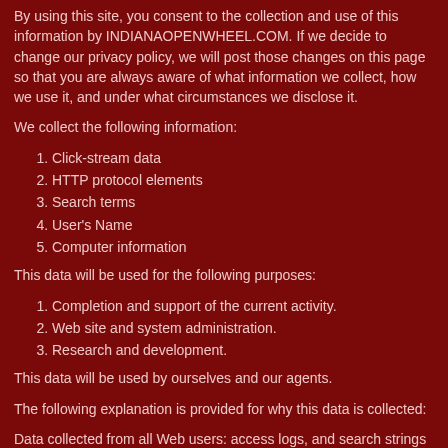By using this site, you consent to the collection and use of this information by INDIANAOPENWHEEL.COM. If we decide to change our privacy policy, we will post those changes on this page so that you are always aware of what information we collect, how we use it, and under what circumstances we disclose it.
We collect the following information:
1. Click-stream data
2. HTTP protocol elements
3. Search terms
4. User's Name
5. Computer information
This data will be used for the following purposes:
1. Completion and support of the current activity.
2. Web site and system administration.
3. Research and development.
This data will be used by ourselves and our agents.
The following explanation is provided for why this data is collected:
Data collected from all Web users: access logs, and search strings (if entered).
At the user's option, we will collect the following data:
1. HTTP cookies